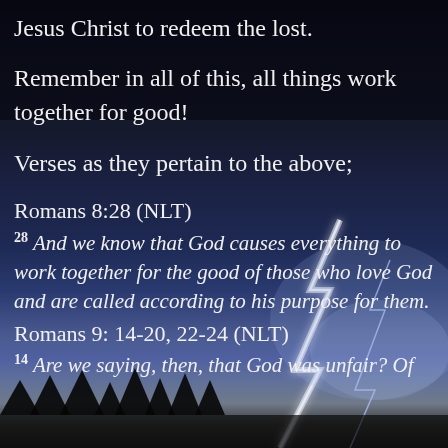Jesus Christ to redeem the lost.
Remember in all of this, all things work together for good!
Verses as they pertain to the above;
Romans 8:28 (NLT)
28 And we know that God causes everything to work together for the good of those who love God and are called according to his purpose for them.
Romans 9: 14-20, 22-24 (NLT)
14 Are we saying, then, that God was unfair? Of